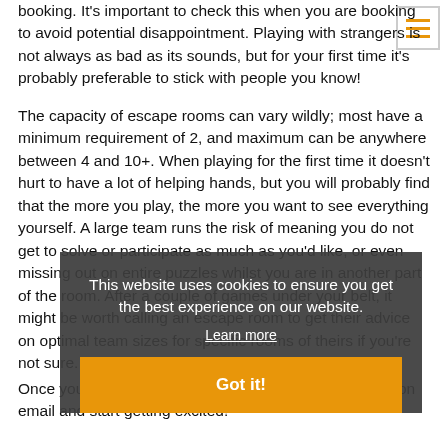booking. It's important to check this when you are booking to avoid potential disappointment. Playing with strangers is not always as bad as its sounds, but for your first time it's probably preferable to stick with people you know!
The capacity of escape rooms can vary wildly; most have a minimum requirement of 2, and maximum can be anywhere between 4 and 10+. When playing for the first time it doesn't hurt to have a lot of helping hands, but you will probably find that the more you play, the more you want to see everything yourself. A large team runs the risk of meaning you do not get to solve or participate as much as you'd like, or even missing out on entire puzzles whilst you are in another part of the room. After a couple of games under your belt, it might be worth calling an escape room to get their advice on optimal team sizes for specific rooms of theirs if you're not sure.
[Figure (other): Cookie consent popup overlay with dark semi-transparent background, text 'This website uses cookies to ensure you get the best experience on our website.', a 'Learn more' underlined link, and an orange 'Got it!' button.]
Once you have booked, make sure you get a confirmation email and start getting excited!